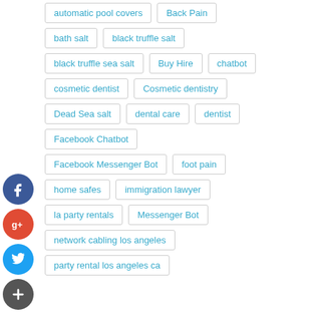automatic pool covers
Back Pain
bath salt
black truffle salt
black truffle sea salt
Buy Hire
chatbot
cosmetic dentist
Cosmetic dentistry
Dead Sea salt
dental care
dentist
Facebook Chatbot
Facebook Messenger Bot
foot pain
home safes
immigration lawyer
la party rentals
Messenger Bot
network cabling los angeles
party rental los angeles ca